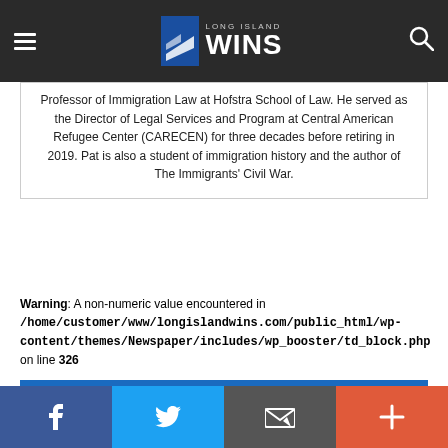Long Island Wins
Professor of Immigration Law at Hofstra School of Law. He served as the Director of Legal Services and Program at Central American Refugee Center (CARECEN) for three decades before retiring in 2019. Pat is also a student of immigration history and the author of The Immigrants' Civil War.
Warning: A non-numeric value encountered in /home/customer/www/longislandwins.com/public_html/wp-content/themes/Newspaper/includes/wp_booster/td_block.php on line 326
RELATED ARTICLES
MORE FROM AUTHOR